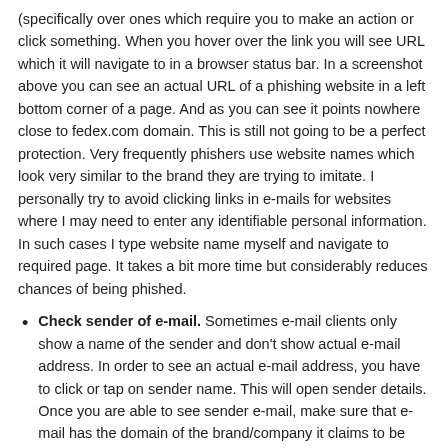(specifically over ones which require you to make an action or click something. When you hover over the link you will see URL which it will navigate to in a browser status bar. In a screenshot above you can see an actual URL of a phishing website in a left bottom corner of a page. And as you can see it points nowhere close to fedex.com domain. This is still not going to be a perfect protection. Very frequently phishers use website names which look very similar to the brand they are trying to imitate. I personally try to avoid clicking links in e-mails for websites where I may need to enter any identifiable personal information. In such cases I type website name myself and navigate to required page. It takes a bit more time but considerably reduces chances of being phished.
Check sender of e-mail. Sometimes e-mail clients only show a name of the sender and don't show actual e-mail address. In order to see an actual e-mail address, you have to click or tap on sender name. This will open sender details. Once you are able to see sender e-mail, make sure that e-mail has the domain of the brand/company it claims to be after @ sign. If it doesn't most probably it is fake. It is very rare for companies to use non-company domains for e-mail. Here is an e-mail of a person who sent that FedEx e-mail to me.
Doesn't look like FedEx at all...